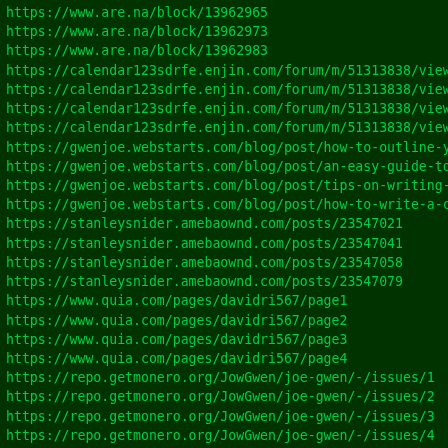https://www.are.na/block/13962965
https://www.are.na/block/13962973
https://www.are.na/block/13962983
https://calendar123sdrfe.enjin.com/forum/m/51313838/viewthr
https://calendar123sdrfe.enjin.com/forum/m/51313838/viewthr
https://calendar123sdrfe.enjin.com/forum/m/51313838/viewthr
https://calendar123sdrfe.enjin.com/forum/m/51313838/viewthr
https://gwenjoe.webstarts.com/blog/post/how-to-outline-your
https://gwenjoe.webstarts.com/blog/post/an-easy-guide-to-wr
https://gwenjoe.webstarts.com/blog/post/tips-on-writing-a-t
https://gwenjoe.webstarts.com/blog/post/how-to-write-a-conc
https://stanleysnider.amebaownd.com/posts/23547021
https://stanleysnider.amebaownd.com/posts/23547041
https://stanleysnider.amebaownd.com/posts/23547058
https://stanleysnider.amebaownd.com/posts/23547079
https://www.quia.com/pages/davidri567/page1
https://www.quia.com/pages/davidri567/page2
https://www.quia.com/pages/davidri567/page3
https://www.quia.com/pages/davidri567/page4
https://repo.getmonero.org/JowGwen/joe-gwen/-/issues/1
https://repo.getmonero.org/JowGwen/joe-gwen/-/issues/2
https://repo.getmonero.org/JowGwen/joe-gwen/-/issues/3
https://repo.getmonero.org/JowGwen/joe-gwen/-/issues/4
https://stanleysnider.mypixieset.com/
https://stanleysnider.mypixieset.com/home-copy/
https://stanleysnider.mypixieset.com/home-copy-copy/
https://stanleysnider.mypixieset.com/home-copy-copy-copy/
https://www.ehx.com/users/munirali/
https://www.ehx.com/users/ahmedrazzaq
https://www.ehx.com/users/zaqsaminsan/